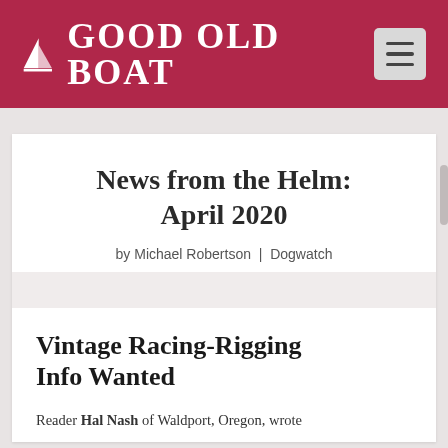Good Old Boat
News from the Helm: April 2020
by Michael Robertson | Dogwatch
Vintage Racing-Rigging Info Wanted
Reader Hal Nash of Waldport, Oregon, wrote